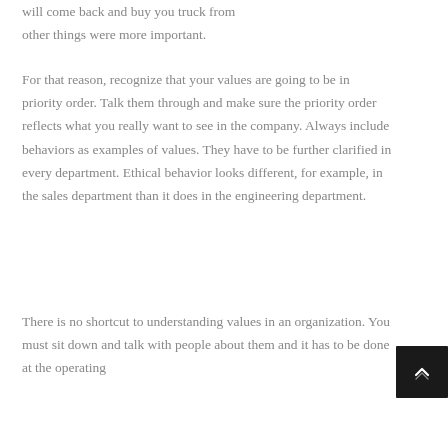will come back and buy you truck from other things were more important.
For that reason, recognize that your values are going to be in priority order. Talk them through and make sure the priority order reflects what you really want to see in the company. Always include behaviors as examples of values. They have to be further clarified in every department. Ethical behavior looks different, for example, in the sales department than it does in the engineering department.
There is no shortcut to understanding values in an organization. You must sit down and talk with people about them and it has to be done at the operating